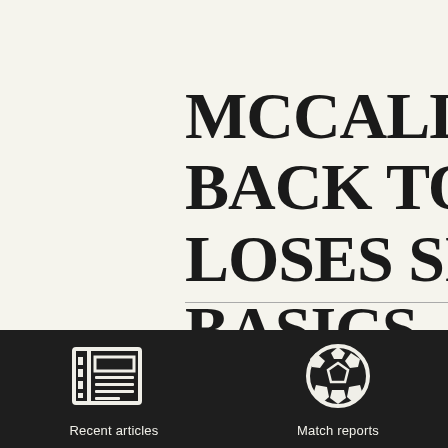MCCALL BACK TO LOSES SI BASICS
[Figure (illustration): Newspaper/article icon - white line art on dark background]
Recent articles
[Figure (illustration): Soccer ball icon - white line art on dark background]
Match reports